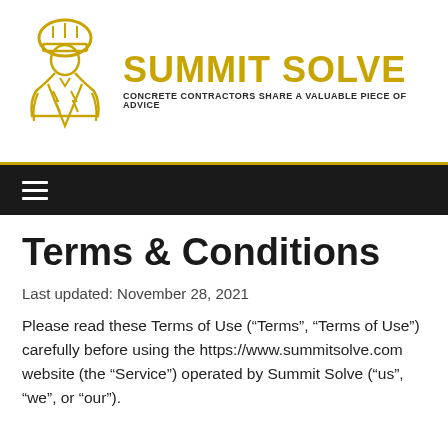[Figure (logo): Summit Solve logo: a construction worker/contractor figure in golden outline wearing a hard hat, with the text 'SUMMIT SOLVE' in large gold bold letters and subtitle 'CONCRETE CONTRACTORS SHARE A VALUABLE PIECE OF ADVICE' in dark text]
≡ (hamburger menu icon on dark navigation bar)
Terms & Conditions
Last updated: November 28, 2021
Please read these Terms of Use (“Terms”, “Terms of Use”) carefully before using the https://www.summitsolve.com website (the “Service”) operated by Summit Solve (“us”, “we”, or “our”).